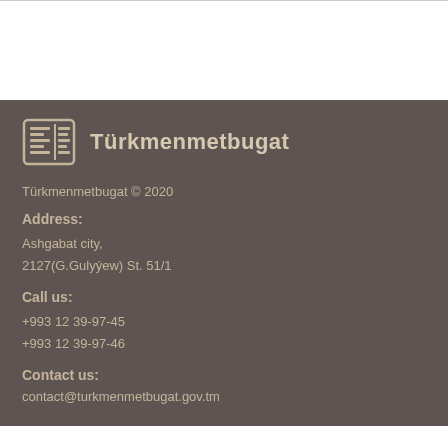Türkmenmetbugat
Türkmenmetbugat © 2020
Address:
Ashgabat city,
2127(G.Gulyýew) St. 51/1
Call us:
+993 12 39-97-45
+993 12 39-97-46
Contact us:
contact@turkmenmetbugat.gov.tm